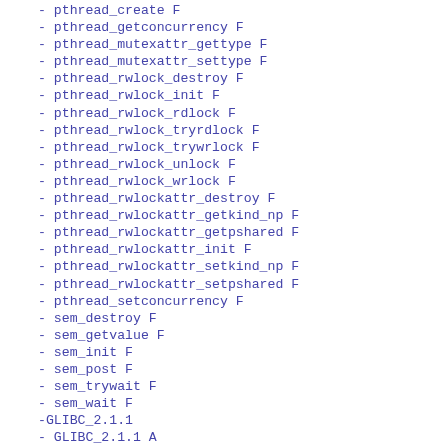- pthread_create F
- pthread_getconcurrency F
- pthread_mutexattr_gettype F
- pthread_mutexattr_settype F
- pthread_rwlock_destroy F
- pthread_rwlock_init F
- pthread_rwlock_rdlock F
- pthread_rwlock_tryrdlock F
- pthread_rwlock_trywrlock F
- pthread_rwlock_unlock F
- pthread_rwlock_wrlock F
- pthread_rwlockattr_destroy F
- pthread_rwlockattr_getkind_np F
- pthread_rwlockattr_getpshared F
- pthread_rwlockattr_init F
- pthread_rwlockattr_setkind_np F
- pthread_rwlockattr_setpshared F
- pthread_setconcurrency F
- sem_destroy F
- sem_getvalue F
- sem_init F
- sem_post F
- sem_trywait F
- sem_wait F
-GLIBC_2.1.1
- GLIBC_2.1.1 A
- sem_close F
- sem_open F
- sem_unlink F
-GLIBC_2.1.2
- GLIBC_2.1.2 A
- vfork F